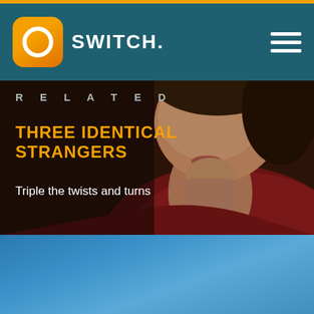SWITCH.
RELATED
THREE IDENTICAL STRANGERS
Triple the twists and turns
[Figure (photo): Close-up photo of a person's face and neck with warm tones, reddish clothing visible, serving as a background banner image for the Three Identical Strangers related content block.]